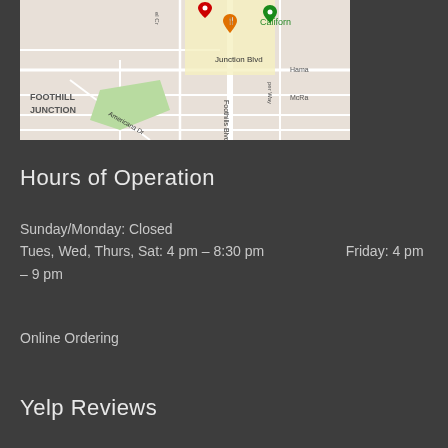[Figure (map): Google Maps screenshot showing Foothill Junction area with street labels including Junction Blvd, Foothills Blvd, Americana Dr, and location pins (red, orange, green).]
Hours of Operation
Sunday/Monday: Closed
Tues, Wed, Thurs, Sat: 4 pm – 8:30 pm                    Friday: 4 pm – 9 pm
Online Ordering
Yelp Reviews